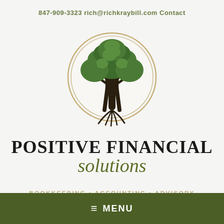847-909-3323   rich@richkraybill.com   Contact
[Figure (logo): Circular logo with a stylized tree with green foliage and dark trunk/roots, enclosed in a double circle with tan/gold border]
POSITIVE FINANCIAL solutions
BOOKKEEPING • ACCOUNTING • ADVISORY
≡  MENU